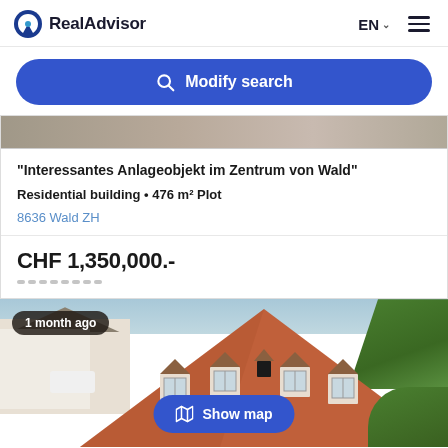RealAdvisor
Modify search
"Interessantes Anlageobjekt im Zentrum von Wald"
Residential building • 476 m² Plot
8636 Wald ZH
CHF 1,350,000.-
[Figure (photo): Aerial view of a residential building with a red/terracotta tiled roof, dormers, surrounded by trees and other buildings in Wald ZH]
1 month ago
Show map